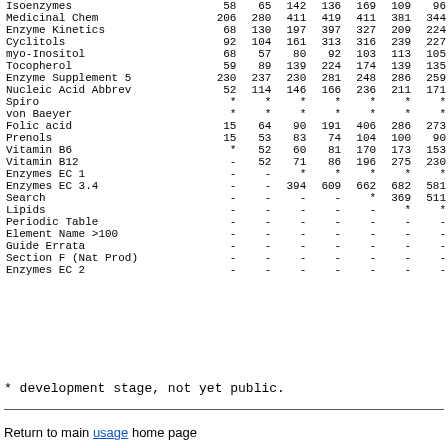| Name | c1 | c2 | c3 | c4 | c5 | c6 | c7 |
| --- | --- | --- | --- | --- | --- | --- | --- |
| Isoenzymes | 58 | 65 | 142 | 136 | 169 | 109 | 96 |
| Medicinal Chem | 206 | 280 | 411 | 419 | 411 | 381 | 344 |
| Enzyme Kinetics | 68 | 130 | 197 | 397 | 327 | 209 | 224 |
| Cyclitols | 92 | 104 | 161 | 313 | 316 | 239 | 227 |
| myo-Inositol | 68 | 57 | 80 | 92 | 103 | 113 | 105 |
| Tocopherol | 59 | 89 | 139 | 224 | 174 | 139 | 135 |
| Enzyme Supplement 5 | 230 | 237 | 230 | 281 | 248 | 286 | 259 |
| Nucleic Acid Abbrev | 52 | 114 | 146 | 166 | 236 | 211 | 171 |
| Spiro | * | * | * | * | * | * | * |
| von Baeyer | * | * | * | * | * | * | * |
| Folic acid | 15 | 64 | 90 | 191 | 406 | 286 | 273 |
| Prenols | 15 | 53 | 83 | 74 | 104 | 100 | 90 |
| Vitamin B6 | * | 52 | 60 | 81 | 170 | 173 | 153 |
| Vitamin B12 | - | 52 | 71 | 86 | 196 | 275 | 230 |
| Enzymes EC 1 | - | - | * | * | * | * | * |
| Enzymes EC 3.4 | - | - | 394 | 609 | 662 | 682 | 581 |
| Search | - | - | - | - | * | 369 | 511 |
| Lipids | - | - | - | - | - | * | * |
| Periodic Table | - | - | - | - | - | - | - |
| Element Name >100 | - | - | - | - | - | - | - |
| Guide Errata | - | - | - | - | - | - | - |
| Section F (Nat Prod) | - | - | - | - | - | - | - |
| Enzymes EC 2 | - | - | - | - | - | - | - |
* development stage, not yet public.
Return to main usage home page